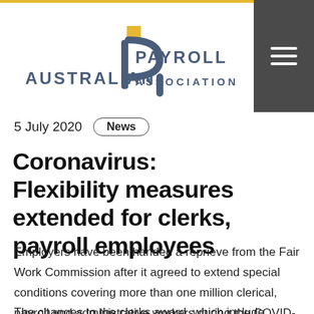[Figure (logo): Australian Payroll Association logo with stylized 'AP' letterform in dark blue-grey and a gold square accent]
5 July 2020  News
Coronavirus: Flexibility measures extended for clerks, payroll employees
Employers have been handed a reprieve from the Fair Work Commission after it agreed to extend special conditions covering more than one million clerical, payroll and administrative workers during the COVID-19 pandemic.
The changes to the clerks award, which include extending